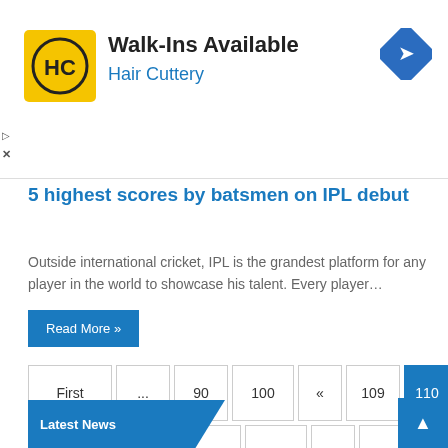[Figure (other): Hair Cuttery advertisement banner with logo, 'Walk-Ins Available' headline, blue subtitle, and navigation arrow icon]
5 highest scores by batsmen on IPL debut
Outside international cricket, IPL is the grandest platform for any player in the world to showcase his talent. Every player…
Read More »
First
...
90
100
«
109
110
111
»
120
130
...
Last
Latest News